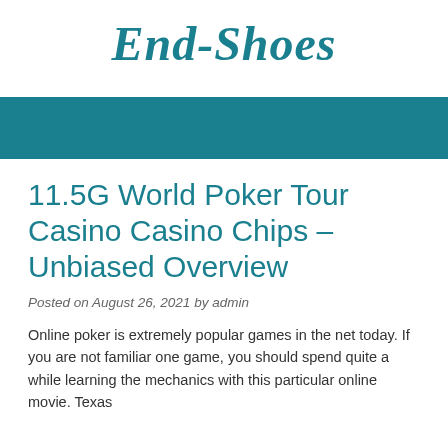End-Shoes
11.5G World Poker Tour Casino Casino Chips – Unbiased Overview
Posted on August 26, 2021 by admin
Online poker is extremely popular games in the net today. If you are not familiar one game, you should spend quite a while learning the mechanics with this particular online movie. Texas